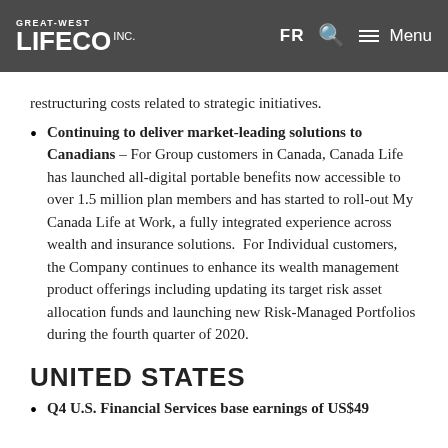GREAT-WEST LIFECO INC. | FR | Menu
restructuring costs related to strategic initiatives.
Continuing to deliver market-leading solutions to Canadians – For Group customers in Canada, Canada Life has launched all-digital portable benefits now accessible to over 1.5 million plan members and has started to roll-out My Canada Life at Work, a fully integrated experience across wealth and insurance solutions.  For Individual customers, the Company continues to enhance its wealth management product offerings including updating its target risk asset allocation funds and launching new Risk-Managed Portfolios during the fourth quarter of 2020.
UNITED STATES
Q4 U.S. Financial Services base earnings of US$49